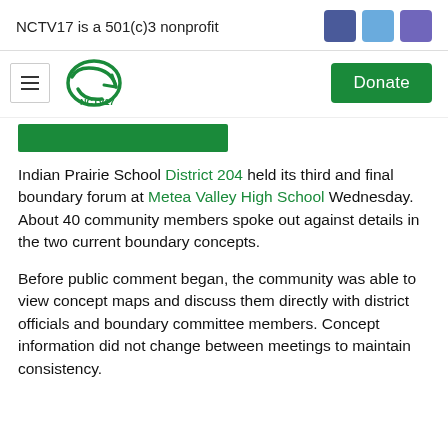NCTV17 is a 501(c)3 nonprofit
[Figure (logo): NCTV17 logo with hamburger menu icon and Donate button]
Indian Prairie School District 204 held its third and final boundary forum at Metea Valley High School Wednesday. About 40 community members spoke out against details in the two current boundary concepts.
Before public comment began, the community was able to view concept maps and discuss them directly with district officials and boundary committee members. Concept information did not change between meetings to maintain consistency.